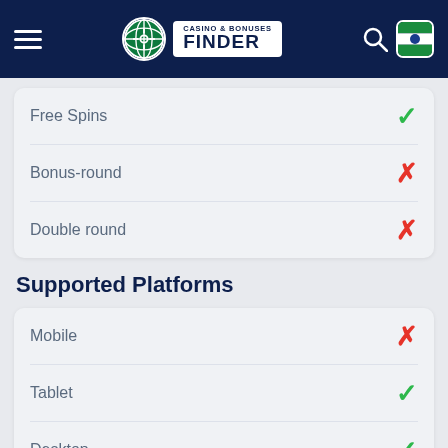Casino & Bonuses Finder
Free Spins ✓
Bonus-round ✗
Double round ✗
Supported Platforms
Mobile ✗
Tablet ✓
Desktop ✓
Features
Scatter
Wild
Free Spins
Expanding Symbols